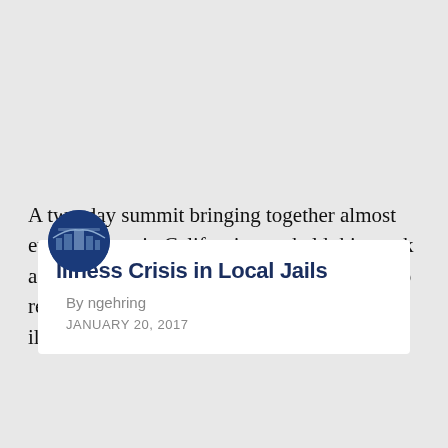[Figure (logo): Blue circular logo with city/building imagery, partially cropped at top]
Illness Crisis in Local Jails
By ngehring
JANUARY 20, 2017
A two-day summit bringing together almost every county in California was held this week as part of Stepping Up, a national initiative to reduce the number of people with mental illnesses in jails.
[Figure (photo): Partially visible photo at bottom of page, appears to be an indoor scene, cropped]